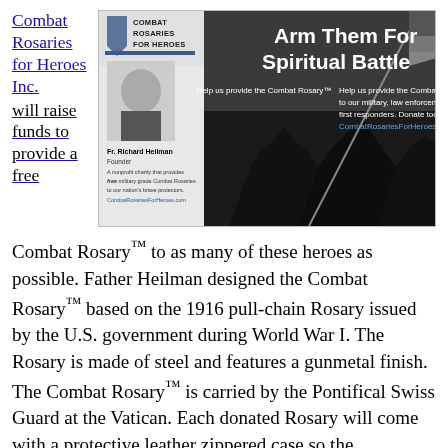Combat Rosaries for Heroes Inc. will raise funds to provide a free Combat Rosary™ to as many of these heroes as possible. Father Heilman designed the Combat Rosary™ based on the 1916 pull-chain Rosary issued by the U.S. government during World War I. The Rosary is made of steel and features a gunmetal finish. The Combat Rosary™ is carried by the Pontifical Swiss Guard at the Vatican. Each donated Rosary will come with a protective leather zippered case so the sacramental can be easily tucked in a pocket.
[Figure (infographic): Combat Rosaries for Heroes advertisement showing the Iwo Jima flag-raising photograph in black and white, with Fr. Richard Heilman's photo, text reading 'Arm Them For Spiritual Battle', 'Help us provide the Combat Rosary to our military, law enforcement and first responders. Donate today at CombatRosariesForHeroes.com.']